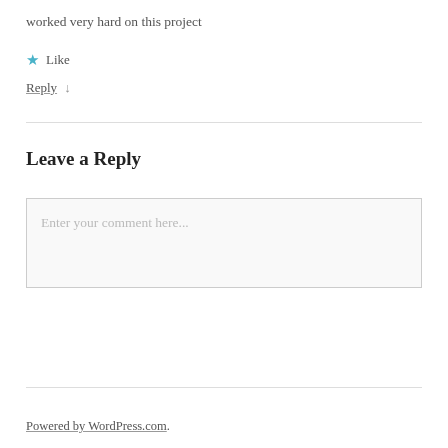worked very hard on this project
★ Like
Reply ↓
Leave a Reply
Enter your comment here...
Powered by WordPress.com.